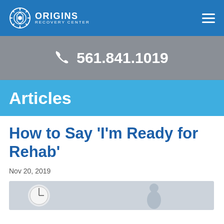ORIGINS RECOVERY CENTER
561.841.1019
Articles
How to Say ‘I’m Ready for Rehab’
Nov 20, 2019
[Figure (photo): Photo showing a clock and a person, illustrating the article about being ready for rehab]